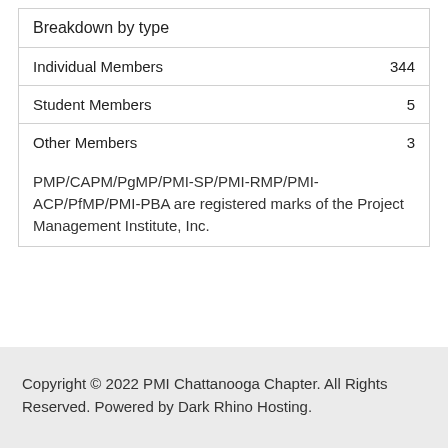|  |  |
| --- | --- |
| Breakdown by type |  |
| Individual Members | 344 |
| Student Members | 5 |
| Other Members | 3 |
PMP/CAPM/PgMP/PMI-SP/PMI-RMP/PMI-ACP/PfMP/PMI-PBA are registered marks of the Project Management Institute, Inc.
Copyright © 2022 PMI Chattanooga Chapter. All Rights Reserved. Powered by Dark Rhino Hosting.